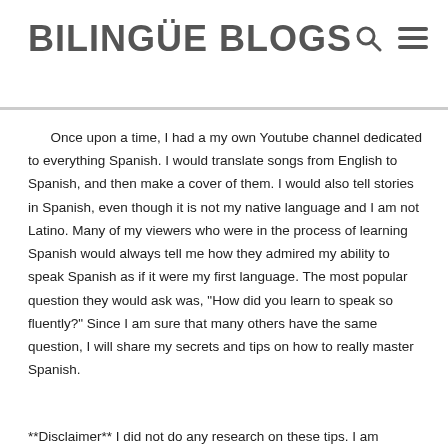BILINGÜE BLOGS
Once upon a time, I had a my own Youtube channel dedicated to everything Spanish. I would translate songs from English to Spanish, and then make a cover of them. I would also tell stories in Spanish, even though it is not my native language and I am not Latino. Many of my viewers who were in the process of learning Spanish would always tell me how they admired my ability to speak Spanish as if it were my first language. The most popular question they would ask was, "How did you learn to speak so fluently?" Since I am sure that many others have the same question, I will share my secrets and tips on how to really master Spanish.
**Disclaimer** I did not do any research on these tips. I am